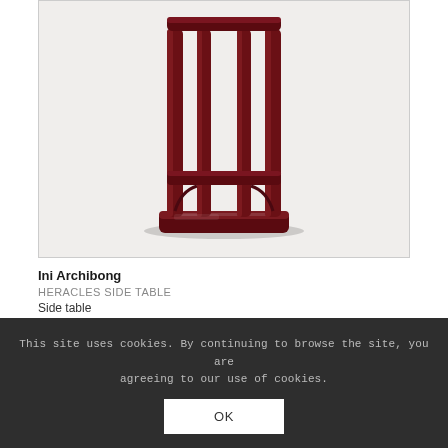[Figure (photo): Product photo of Heracles Side Table by Ini Archibong — a tall dark mahogany/burgundy side table with vertical slat legs joined at the base by a rectangular platform, shown on white background]
Ini Archibong
HERACLES SIDE TABLE
Side table
This site uses cookies. By continuing to browse the site, you are agreeing to our use of cookies.
OK